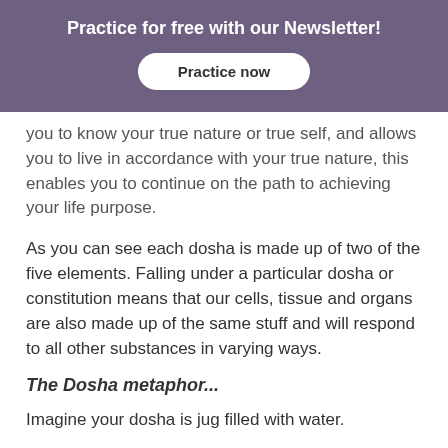Practice for free with our Newsletter!
you to know your true nature or true self, and allows you to live in accordance with your true nature, this enables you to continue on the path to achieving your life purpose.
As you can see each dosha is made up of two of the five elements. Falling under a particular dosha or constitution means that our cells, tissue and organs are also made up of the same stuff and will respond to all other substances in varying ways.
The Dosha metaphor...
Imagine your dosha is jug filled with water.
When the jug is full our constitution is balanced, but if the jug overflows or is only filled, this is where problems in the body...